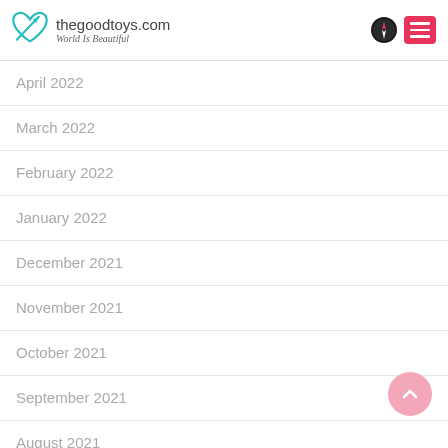thegoodtoys.com — World Is Beautiful
April 2022
March 2022
February 2022
January 2022
December 2021
November 2021
October 2021
September 2021
August 2021